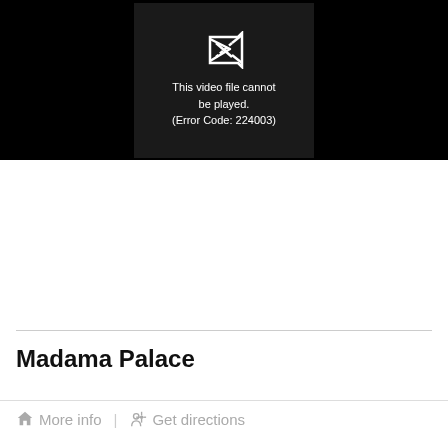[Figure (screenshot): Video player showing error message: 'This video file cannot be played. (Error Code: 224003)' with a broken video icon on a dark background.]
Madama Palace
More info   Get directions